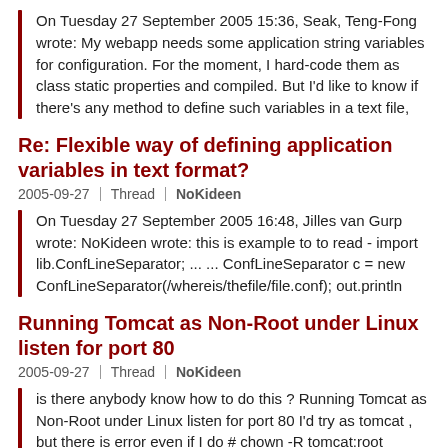On Tuesday 27 September 2005 15:36, Seak, Teng-Fong wrote: My webapp needs some application string variables for configuration. For the moment, I hard-code them as class static properties and compiled. But I'd like to know if there's any method to define such variables in a text file,
Re: Flexible way of defining application variables in text format?
2005-09-27   |   Thread   |   NoKideen
On Tuesday 27 September 2005 16:48, Jilles van Gurp wrote: NoKideen wrote: this is example to to read - import lib.ConfLineSeparator; ... ... ConfLineSeparator c = new ConfLineSeparator(/whereis/thefile/file.conf); out.println
Running Tomcat as Non-Root under Linux listen for port 80
2005-09-27   |   Thread   |   NoKideen
is there anybody know how to do this ? Running Tomcat as Non-Root under Linux listen for port 80 I'd try as tomcat , but there is error even if I do # chown -R tomcat:root /usr/tomcat/* - To unsubscribe, e-mail: [EMAIL
Re: Connecting...